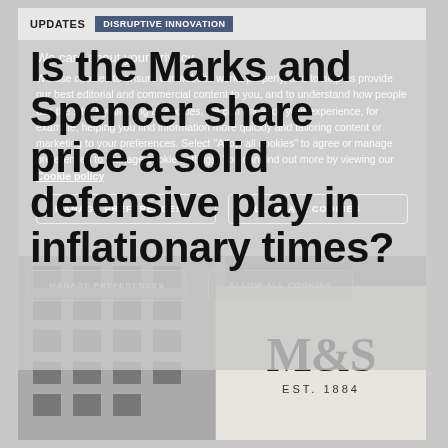UPDATES  DISRUPTIVE INNOVATION
Is the Marks and Spencer share price a solid defensive play in inflationary times?
We care about your privacy. We use cookies to ensure our website works properly, and to help us provide our best editorial and commercial content to you, and to understand how people use the site. By allowing all cookies, we can enhance your experience, for example, helping you find information more quickly and tailoring content or marketing to your preferences. Select "Allow all cookies" to agree or manage preferences to manage cookie settings. You can find out more by viewing our Cookie policy
[Figure (photo): Exterior photo of a Marks & Spencer store showing the M&S EST. 1884 sign on the building facade]